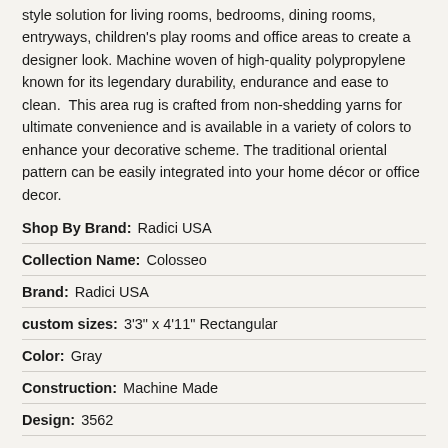style solution for living rooms, bedrooms, dining rooms, entryways, children's play rooms and office areas to create a designer look. Machine woven of high-quality polypropylene known for its legendary durability, endurance and ease to clean.  This area rug is crafted from non-shedding yarns for ultimate convenience and is available in a variety of colors to enhance your decorative scheme. The traditional oriental pattern can be easily integrated into your home décor or office decor.
| Attribute | Value |
| --- | --- |
| Shop By Brand: | Radici USA |
| Collection Name: | Colosseo |
| Brand: | Radici USA |
| custom sizes: | 3'3" x 4'11" Rectangular |
| Color: | Gray |
| Construction: | Machine Made |
| Design: | 3562 |